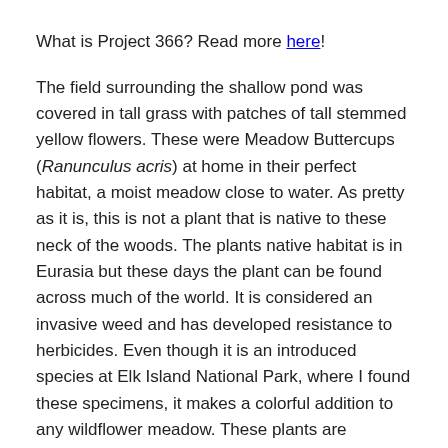What is Project 366? Read more here!
The field surrounding the shallow pond was covered in tall grass with patches of tall stemmed yellow flowers. These were Meadow Buttercups (Ranunculus acris) at home in their perfect habitat, a moist meadow close to water. As pretty as it is, this is not a plant that is native to these neck of the woods. The plants native habitat is in Eurasia but these days the plant can be found across much of the world. It is considered an invasive weed and has developed resistance to herbicides. Even though it is an introduced species at Elk Island National Park, where I found these specimens, it makes a colorful addition to any wildflower meadow. These plants are perennials and are usually left alone by cattle as they are poisonous. The Alberta Agriculture and Forestry Department does not tiptoe around what consumption of fresh Meadow Buttercup will do to animals (which presumably would also include